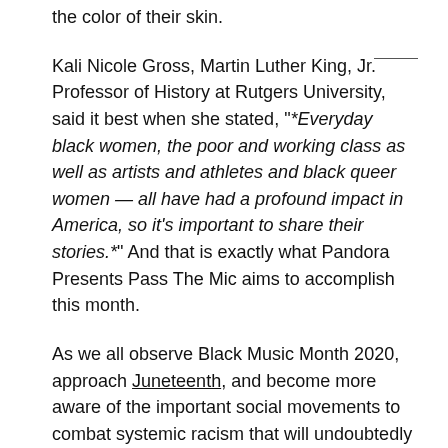the color of their skin.
Kali Nicole Gross, Martin Luther King, Jr. Professor of History at Rutgers University, said it best when she stated, "*Everyday black women, the poor and working class as well as artists and athletes and black queer women — all have had a profound impact in America, so it's important to share their stories.*" And that is exactly what Pandora Presents Pass The Mic aims to accomplish this month.
As we all observe Black Music Month 2020, approach Juneteenth, and become more aware of the important social movements to combat systemic racism that will undoubtedly shape American history, it is crucial for Pandora to highlight Black women who are making waves in the audio industry and opening up doors for others.
Please explore our Pass The Mic content this month, highlighting Black Women musicians, professors of African American Diaspora and Music Producers and